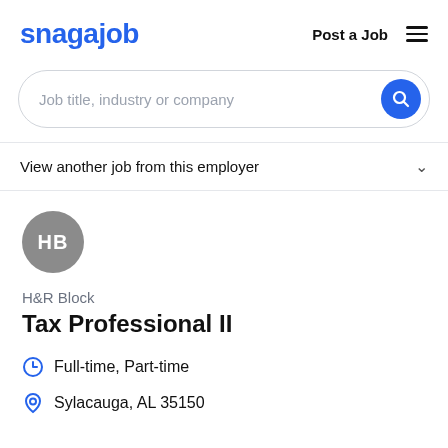snagajob | Post a Job
[Figure (screenshot): Search bar with placeholder text 'Job title, industry or company' and a blue circular search button]
View another job from this employer
[Figure (logo): Gray circular avatar with white initials HB]
H&R Block
Tax Professional II
Full-time, Part-time
Sylacauga, AL 35150